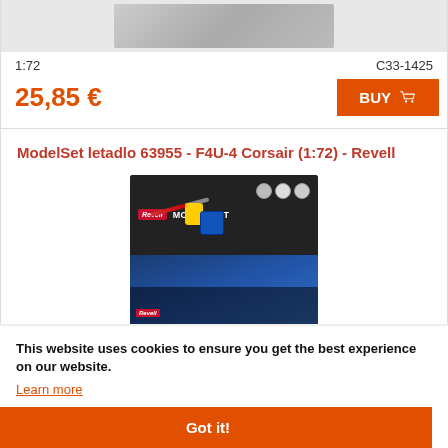[Figure (photo): Top portion of a model airplane kit box, partially visible at top of page]
1:72
C33-1425
25,85 €
BUY
ModelSet letadlo 63955 - F4U-4 Corsair (1:72) - Revell
[Figure (photo): Revell ModelSet box for F4U-4 Corsair 1:72 scale model, Level 3, showing the box with painting accessories, paint bottles, brush, and glue on top, and a blue fighter plane on the box art]
This website uses cookies to ensure you get the best experience on our website.
Learn more
Got it!